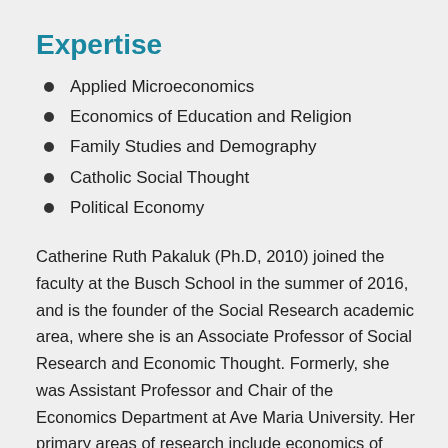Expertise
Applied Microeconomics
Economics of Education and Religion
Family Studies and Demography
Catholic Social Thought
Political Economy
Catherine Ruth Pakaluk (Ph.D, 2010) joined the faculty at the Busch School in the summer of 2016, and is the founder of the Social Research academic area, where she is an Associate Professor of Social Research and Economic Thought. Formerly, she was Assistant Professor and Chair of the Economics Department at Ave Maria University. Her primary areas of research include economics of education and religion, family studies and demography, Catholic